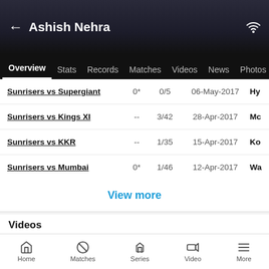← Ashish Nehra
Overview  Stats  Records  Matches  Videos  News  Photos
| Match |  | Wickets | Date | Venue |
| --- | --- | --- | --- | --- |
| Sunrisers vs Supergiant | 0* | 0/5 | 06-May-2017 | Hy |
| Sunrisers vs Kings XI | -- | 3/42 | 28-Apr-2017 | Mc |
| Sunrisers vs KKR | -- | 1/35 | 15-Apr-2017 | Ko |
| Sunrisers vs Mumbai | 0* | 1/46 | 12-Apr-2017 | Wa |
View more
Videos
[Figure (screenshot): Two video thumbnails — one orange gradient, one dark with cricket content]
Home  Matches  Series  Video  More